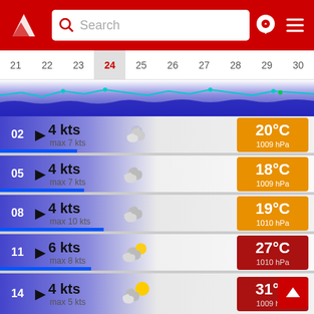[Figure (screenshot): App header with red background, logo, search bar, and navigation icons]
Search
21  22  23  24  25  26  27  28  29  30
[Figure (continuous-plot): Timeline chart strip with blue wave and cyan line showing wind/weather data over dates 21-30]
02  ▶ 4 kts  max 7 kts  [night-cloudy icon]  20°C  1009 hPa
05  ▶ 4 kts  max 7 kts  [cloudy icon]  18°C  1009 hPa
08  ▶ 4 kts  max 10 kts  [cloudy icon]  19°C  1010 hPa
11  ▶ 6 kts  max 8 kts  [partly-cloudy icon]  27°C  1010 hPa
14  ▶ 4 kts  max 5 kts  [sunny-cloudy icon]  31°C  1009 hPa